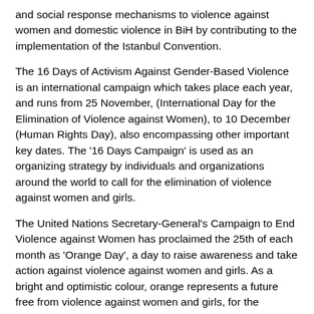and social response mechanisms to violence against women and domestic violence in BiH by contributing to the implementation of the Istanbul Convention.
The 16 Days of Activism Against Gender-Based Violence is an international campaign which takes place each year, and runs from 25 November, (International Day for the Elimination of Violence against Women), to 10 December (Human Rights Day), also encompassing other important key dates. The '16 Days Campaign' is used as an organizing strategy by individuals and organizations around the world to call for the elimination of violence against women and girls.
The United Nations Secretary-General's Campaign to End Violence against Women has proclaimed the 25th of each month as 'Orange Day', a day to raise awareness and take action against violence against women and girls. As a bright and optimistic colour, orange represents a future free from violence against women and girls, for the